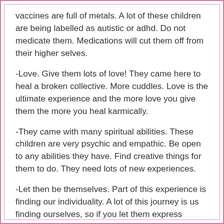vaccines are full of metals.  A lot of these children are being labelled as autistic or adhd.  Do not medicate them.  Medications will cut them off from their higher selves.
-Love.  Give them lots of love!  They came here to heal a broken collective.  More cuddles.  Love is the ultimate experience and the more love you give them the more you heal karmically.
-They came with many spiritual abilities.  These children are very psychic and empathic.  Be open to any abilities they have.  Find creative things for them to do.  They need lots of new experiences.
-Let then be themselves.  Part of this experience is finding our individuality.  A lot of this journey is us finding ourselves, so if you let them express themselves you can speed that process up.  Let them